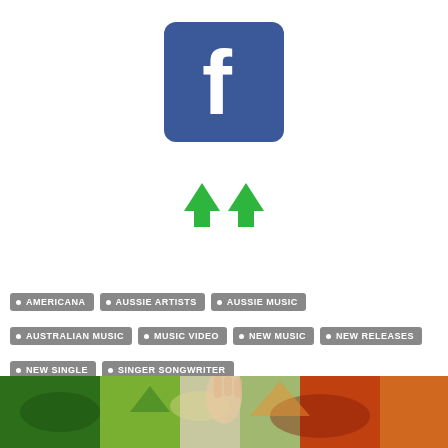[Figure (logo): Facebook logo — blue rounded square with white lowercase f]
[Figure (logo): Two green upward-pointing arrows side by side, resembling tree/growth icons]
• AMERICANA  • AUSSIE ARTISTS  • AUSSIE MUSIC
• AUSTRALIAN MUSIC  • MUSIC VIDEO  • NEW MUSIC  • NEW RELEASES
• NEW SINGLE  • SINGER SONGWRITER
[Figure (photo): Colourful artwork/photo strip at bottom of page showing a hand and vibrant fish/nature imagery]